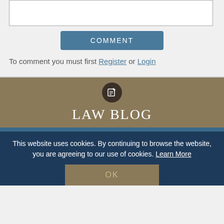[Figure (screenshot): Comment text input box (white rectangle with border)]
[Figure (screenshot): COMMENT button (blue rounded rectangle with white uppercase text)]
To comment you must first Register or Login
LAW BLOG
RECENT POSTS
DMT Law Invites You to a Fundraising Reception to Keep Judge Lody Jean
U.S. House of Representatives Passes Marijuana...
This website uses cookies. By continuing to browse the website, you are agreeing to our use of cookies. Learn More
[Figure (screenshot): OK button]